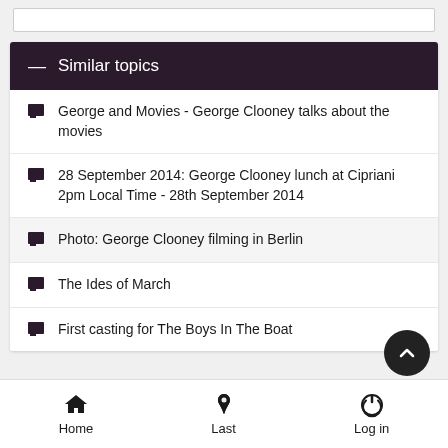Similar topics
George and Movies - George Clooney talks about the movies
28 September 2014: George Clooney lunch at Cipriani 2pm Local Time - 28th September 2014
Photo: George Clooney filming in Berlin
The Ides of March
First casting for The Boys In The Boat
Home  Last  Log in